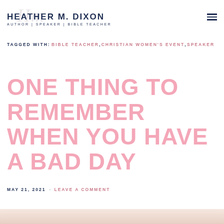HEATHER M. DIXON — AUTHOR | SPEAKER | BIBLE TEACHER
TAGGED WITH: BIBLE TEACHER, CHRISTIAN WOMEN'S EVENT, SPEAKER
ONE THING TO REMEMBER WHEN YOU HAVE A BAD DAY
MAY 21, 2021 · LEAVE A COMMENT
[Figure (photo): Bottom portion of a photo visible at the bottom of the page]